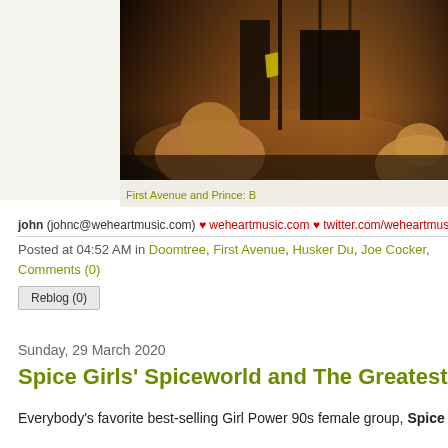[Figure (photo): Dark indoor photo showing audience members from behind watching performers on a stage, warm amber lighting, people seated in foreground]
First Avenue and Prince: B
john (johnc@weheartmusic.com) ♥ weheartmusic.com ♥ twitter.com/weheartmusic
Posted at 04:52 AM in Doomtree, First Avenue, Husker Du, Joe Cocker,
Comments (0)
Reblog (0)
Sunday, 29 March 2020
Spice Girls' Spiceworld and The Greatest Hits on
Everybody's favorite best-selling Girl Power 90s female group, Spice Girls